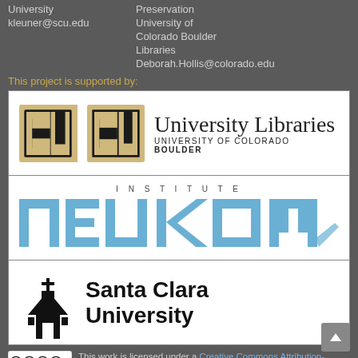University
kleuner@scu.edu
Preservation
University of
Colorado Boulder
Libraries
Deborah.Hollis@colorado.edu
This project is supported by:
[Figure (logo): University Libraries, University of Colorado Boulder logo with CU emblem]
[Figure (logo): Neukom Institute logo in blue with INSTITUTE text above]
[Figure (logo): Santa Clara University logo with church silhouette]
This work is licensed under a Creative Commons Attribution-NonCommercial-ShareAlike 4.0 International License.